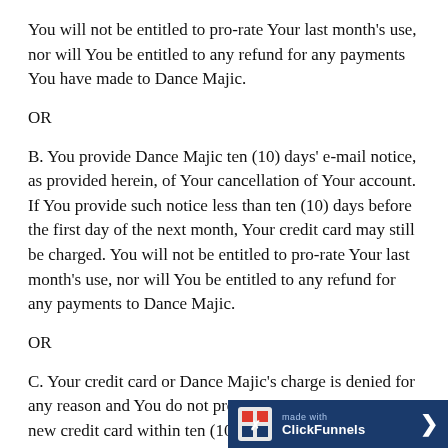You will not be entitled to pro-rate Your last month's use, nor will You be entitled to any refund for any payments You have made to Dance Majic.
OR
B. You provide Dance Majic ten (10) days' e-mail notice, as provided herein, of Your cancellation of Your account. If You provide such notice less than ten (10) days before the first day of the next month, Your credit card may still be charged. You will not be entitled to pro-rate Your last month's use, nor will You be entitled to any refund for any payments to Dance Majic.
OR
C. Your credit card or Dance Majic's charge is denied for any reason and You do not provi... new credit card within ten (10) day...